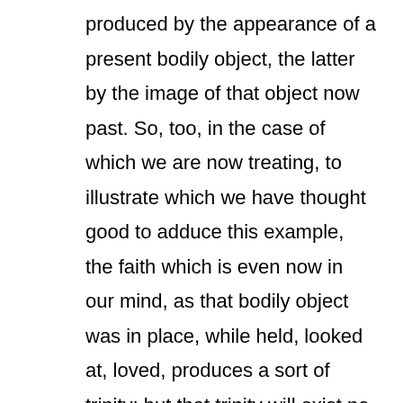produced by the appearance of a present bodily object, the latter by the image of that object now past. So, too, in the case of which we are now treating, to illustrate which we have thought good to adduce this example, the faith which is even now in our mind, as that bodily object was in place, while held, looked at, loved, produces a sort of trinity; but that trinity will exist no more, when this faith in the mind, like that bodily object in place, shall no longer exist. But that which will then exist, when we shall remember it to have been, but not